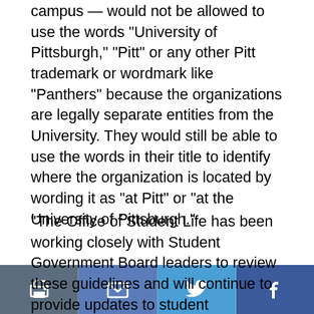campus — would not be allowed to use the words “University of Pittsburgh,” “Pitt” or any other Pitt trademark or wordmark like “Panthers” because the organizations are legally separate entities from the University. They would still be able to use the words in their title to identify where the organization is located by wording it as “at Pitt” or “at the University of Pittsburgh.”
“The Office of Student Life has been working closely with Student Government Board leaders to review these guidelines and will continue to provide updates to student organizations as these conversations progress,” Pitt spokesperson Kevin Zwick said in a Friday email.
[Figure (photo): Dark image strip showing partial view of a photo at the bottom of the article]
[Figure (infographic): Mobile toolbar with four buttons: print (printer icon), email (envelope icon), Twitter (bird icon), Facebook (f icon)]